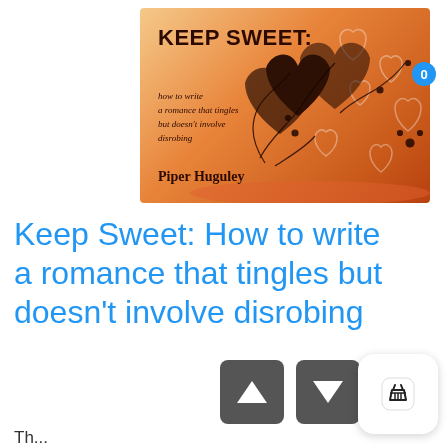[Figure (illustration): Book cover for 'Keep Sweet: how to write a romance that tingles but doesn't involve disrobing' by Piper Huguley, with an orange gradient background and decorative dark heart silhouettes and floral swirls]
Keep Sweet: How to write a romance that tingles but doesn't involve disrobing
Th...